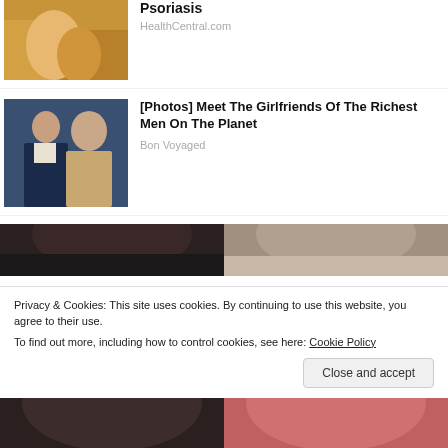[Figure (photo): Woman in yellow sweater scratching arm, partially cropped at top]
Psoriasis
HealthCentral.com
[Figure (photo): Man in dark suit and woman with sunglasses sitting together at an event]
[Photos] Meet The Girlfriends Of The Richest Men On The Planet
Bon Voyaged
[Figure (photo): Two cropped photos of people's heads/hair side by side]
Privacy & Cookies: This site uses cookies. By continuing to use this website, you agree to their use.
To find out more, including how to control cookies, see here: Cookie Policy
[Figure (photo): Two cropped portrait photos at the very bottom of the page]